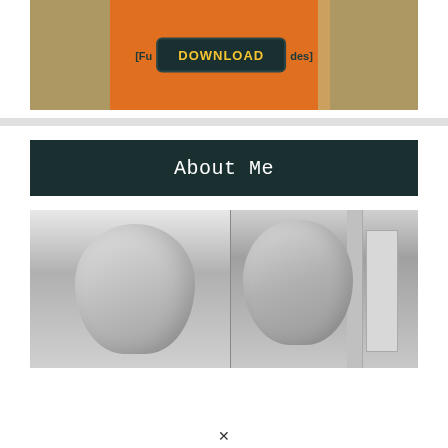[Figure (photo): Collage-style banner image with orange background and a dark download button. Partial text visible on left '[Fu' and right 'des]'. Yellow 'DOWNLOAD' text on dark rounded rectangle button.]
[Figure (photo): Dark teal/green banner with white monospace text reading 'About Me']
[Figure (photo): Grayscale split portrait photograph of a bald person's head, shown in two side-by-side panels with architectural elements visible on the right side.]
x